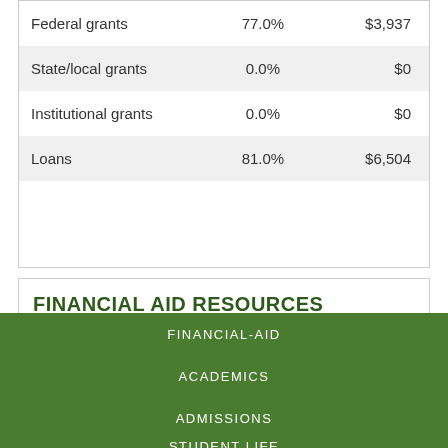|  |  |  |
| --- | --- | --- |
| Federal grants | 77.0% | $3,937 |
| State/local grants | 0.0% | $0 |
| Institutional grants | 0.0% | $0 |
| Loans | 81.0% | $6,504 |
FINANCIAL AID RESOURCES
By...
FINANCIAL-AID
ACADEMICS
ADMISSIONS
STUDENT LIFE